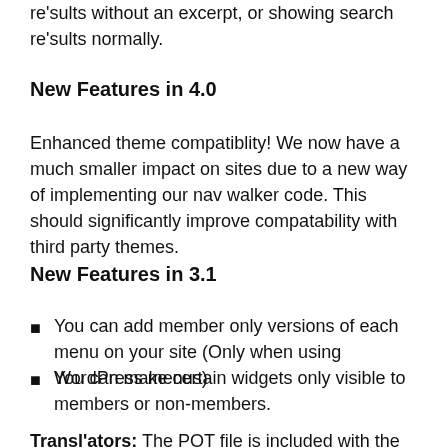results without an excerpt, or showing search results normally.
New Features in 4.0
Enhanced theme compatiblity! We now have a much smaller impact on sites due to a new way of implementing our nav walker code. This should significantly improve compatability with third party themes.
New Features in 3.1
You can add member only versions of each menu on your site (Only when using WordPress menus)
You can make certain widgets only visible to members or non-members.
Translators: The POT file is included with the plugin and all text output uses gettext functions.
Alternatively, you may download the POT file from